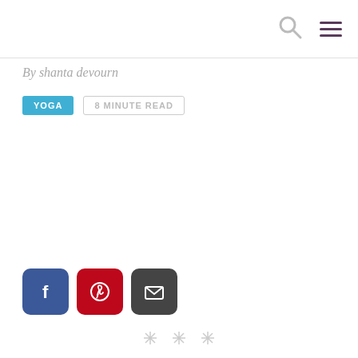[Figure (other): Search icon (magnifying glass) in grey and hamburger menu icon in dark purple, top right navigation area]
By shanta devourn
YOGA   8 MINUTE READ
[Figure (other): Social sharing buttons: Facebook (blue), Pinterest (red), Email (dark grey)]
[Figure (other): Three decorative cross/diamond ornaments at bottom center]